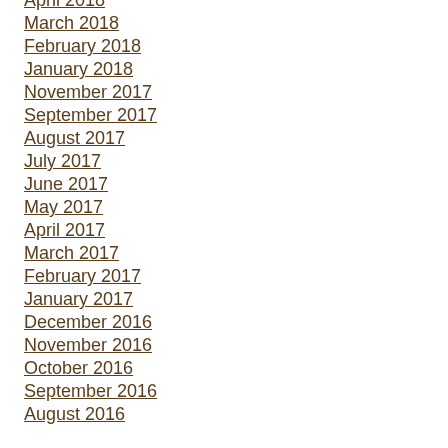April 2018
March 2018
February 2018
January 2018
November 2017
September 2017
August 2017
July 2017
June 2017
May 2017
April 2017
March 2017
February 2017
January 2017
December 2016
November 2016
October 2016
September 2016
August 2016